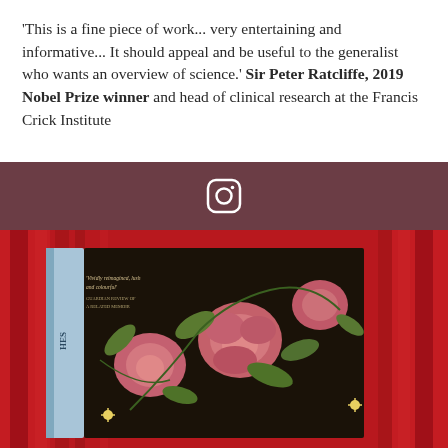'This is a fine piece of work... very entertaining and informative... It should appeal and be useful to the generalist who wants an overview of science.' Sir Peter Ratcliffe, 2019 Nobel Prize winner and head of clinical research at the Francis Crick Institute
[Figure (other): Dark mauve/maroon colored background section with an Instagram logo icon (rounded square with camera icon) centered in white]
[Figure (photo): Photo of a book with a floral cover design featuring pink roses and green leaves on a dark background, photographed against red curtain backdrop]